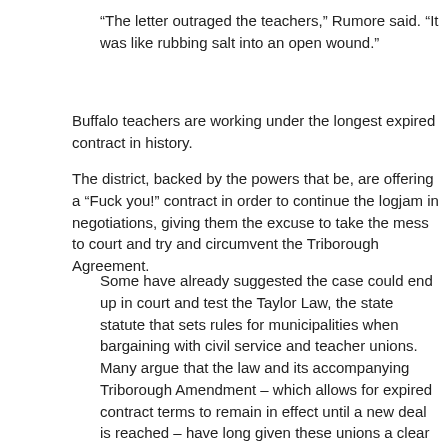“The letter outraged the teachers,” Rumore said. “It was like rubbing salt into an open wound.”
Buffalo teachers are working under the longest expired contract in history.
The district, backed by the powers that be, are offering a "Fuck you!" contract in order to continue the logjam in negotiations, giving them the excuse to take the mess to court and try and circumvent the Triborough Agreement.
Some have already suggested the case could end up in court and test the Taylor Law, the state statute that sets rules for municipalities when bargaining with civil service and teacher unions. Many argue that the law and its accompanying Triborough Amendment – which allows for expired contract terms to remain in effect until a new deal is reached – have long given these unions a clear edge in negotiations.
“This is a perfect illustration of how the combination of the Taylor Law and the Triborough Amendment can create problems,” O’Neil said. “We’ll have to assess where we’re headed and whether we’re headed for litigation.”